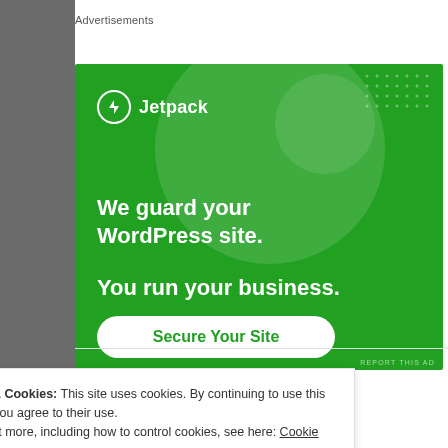Advertisements
[Figure (illustration): Jetpack advertisement banner on green background. Shows Jetpack logo, text 'We guard your WordPress site. You run your business.' and a 'Secure Your Site' button.]
REPORT THIS AD
Privacy & Cookies: This site uses cookies. By continuing to use this website, you agree to their use.
To find out more, including how to control cookies, see here: Cookie Policy
Close and accept
understand how disappointing it is. We were